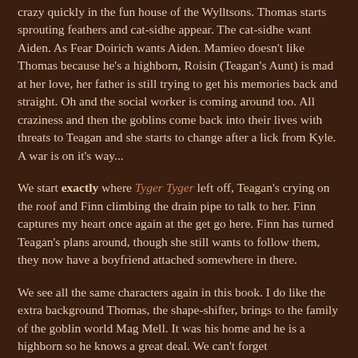crazy quickly in the fun house of the Wylltsons. Thomas starts sprouting feathers and cat-sidhe appear. The cat-sidhe want Aiden. As Fear Doirich wants Aiden. Mamieo doesn't like Thomas because he's a highborn, Roisin (Teagan's Aunt) is mad at her love, her father is still trying to get his memories back and straight. Oh and the social worker is coming around too. All craziness and then the goblins come back into their lives with threats to Teagan and she starts to change after a lick from Kyle. A war is on it's way...
We start exactly where Tyger Tyger left off, Teagan's crying on the roof and Finn climbing the drain pipe to talk to her. Finn captures my heart once again at the get go here. Finn has turned Teagan's plans around, though she still wants to follow them, they now have a boyfriend attached somewhere in there.
We see all the same characters again in this book. I do like the extra background Thomas, the shape-shifter, brings to the family of the goblin world Mag Mell. It was his home and he is a highborn so he knows a great deal. We can't forget about how the visiting in Aiden and being Aiden cont...